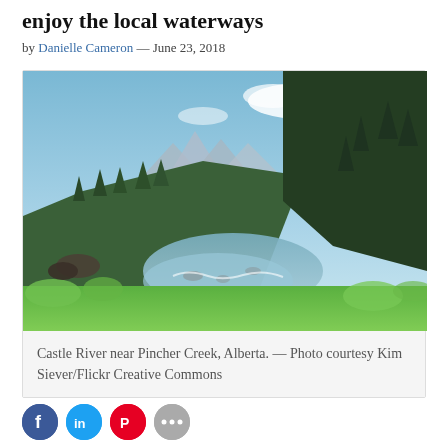enjoy the local waterways
by Danielle Cameron — June 23, 2018
[Figure (photo): Scenic photo of Castle River near Pincher Creek, Alberta, showing a mountain river flowing through forested landscape with mountains in the background.]
Castle River near Pincher Creek, Alberta. — Photo courtesy Kim Siever/Flickr Creative Commons